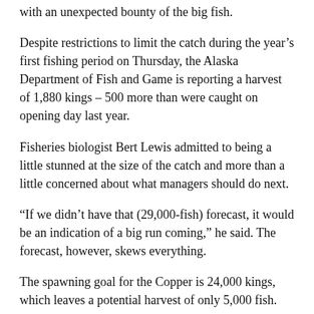with an unexpected bounty of the big fish.
Despite restrictions to limit the catch during the year's first fishing period on Thursday, the Alaska Department of Fish and Game is reporting a harvest of 1,880 kings – 500 more than were caught on opening day last year.
Fisheries biologist Bert Lewis admitted to being a little stunned at the size of the catch and more than a little concerned about what managers should do next.
“If we didn’t have that (29,000-fish) forecast, it would be an indication of a big run coming,” he said. The forecast, however, skews everything.
The spawning goal for the Copper is 24,000 kings, which leaves a potential harvest of only 5,000 fish.
Citing the dismal forecast, Commissioner of Fish and Game Sam Cotten over-rode a long-standing state policy that the Board of Fisheries and not the Department of Fish and Game allocates fish and earlier this year ordered all king salmon sport fisheries in the Copper drainage closed. He then banned